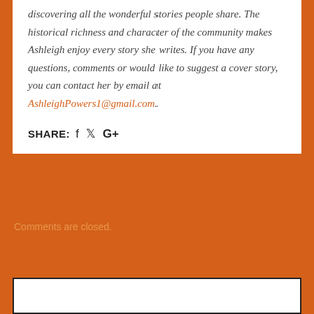discovering all the wonderful stories people share. The historical richness and character of the community makes Ashleigh enjoy every story she writes. If you have any questions, comments or would like to suggest a cover story, you can contact her by email at AshleighPowers1@gmail.com.
SHARE: f ♥ G+
Comments are closed.